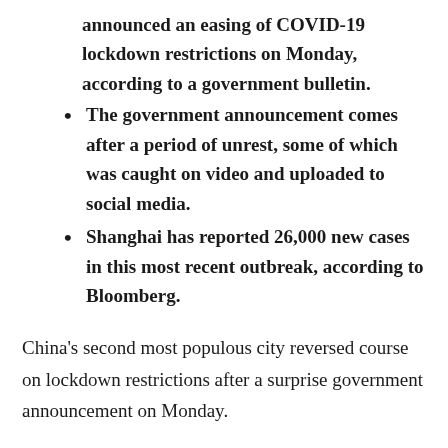announced an easing of COVID-19 lockdown restrictions on Monday, according to a government bulletin.
The government announcement comes after a period of unrest, some of which was caught on video and uploaded to social media.
Shanghai has reported 26,000 new cases in this most recent outbreak, according to Bloomberg.
China's second most populous city reversed course on lockdown restrictions after a surprise government announcement on Monday.